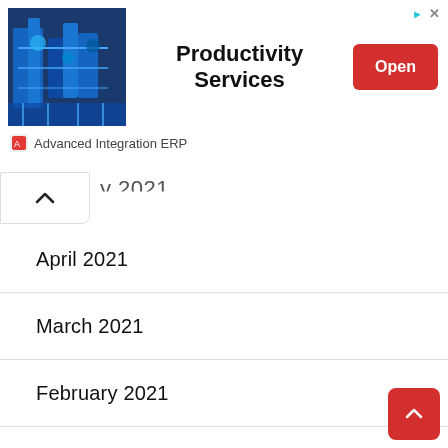[Figure (screenshot): Ad banner showing an industrial machinery image on the left, 'Productivity Services' title in the center, and a red 'Open' button on the right. Below the image is the brand name 'Advanced Integration ERP' with a small icon.]
y 2021
April 2021
March 2021
February 2021
January 2021
December 2020
November 2020